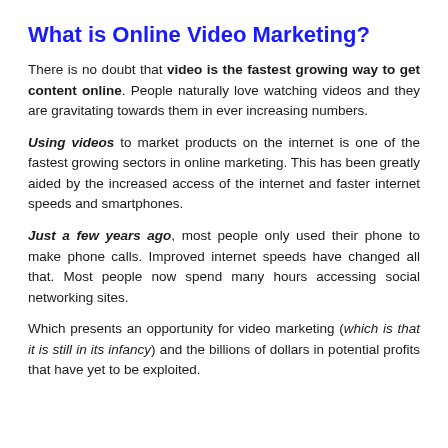What is Online Video Marketing?
There is no doubt that video is the fastest growing way to get content online. People naturally love watching videos and they are gravitating towards them in ever increasing numbers.
Using videos to market products on the internet is one of the fastest growing sectors in online marketing. This has been greatly aided by the increased access of the internet and faster internet speeds and smartphones.
Just a few years ago, most people only used their phone to make phone calls. Improved internet speeds have changed all that. Most people now spend many hours accessing social networking sites.
Which presents an opportunity for video marketing (which is that it is still in its infancy) and the billions of dollars in potential profits that have yet to be exploited.